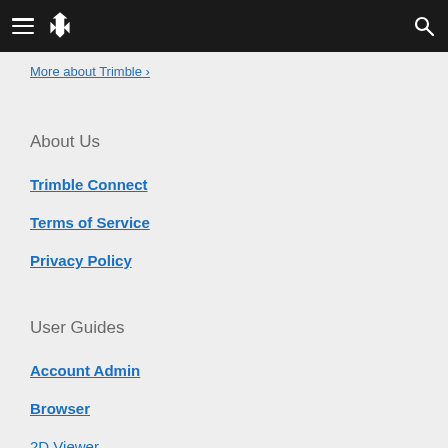More about Trimble ›
About Us
Trimble Connect
Terms of Service
Privacy Policy
User Guides
Account Admin
Browser
2D Viewer